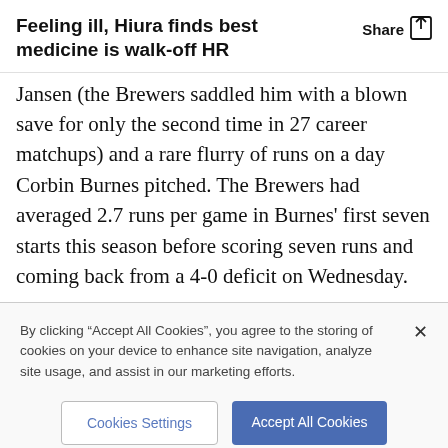Feeling ill, Hiura finds best medicine is walk-off HR
Jansen (the Brewers saddled him with a blown save for only the second time in 27 career matchups) and a rare flurry of runs on a day Corbin Burnes pitched. The Brewers had averaged 2.7 runs per game in Burnes’ first seven starts this season before scoring seven runs and coming back from a 4-0 deficit on Wednesday.
By clicking “Accept All Cookies”, you agree to the storing of cookies on your device to enhance site navigation, analyze site usage, and assist in our marketing efforts.